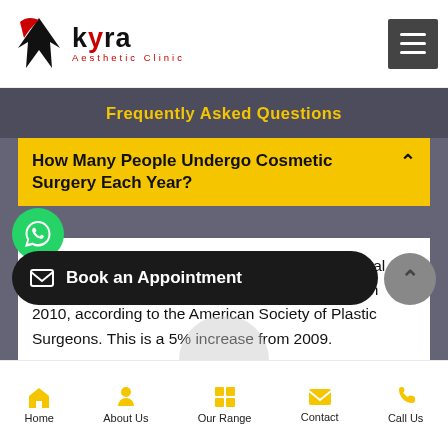[Figure (logo): Kyra Aesthetic Clinic logo with bird/chevron icon in black and red]
Frequently Asked Questions
How Many People Undergo Cosmetic Surgery Each Year?
Over 13.1 million cosmetic surgical and nonsurgical procedures were performed in the United States in 2010, according to the American Society of Plastic Surgeons. This is a 5% increase from 2009.
Is Surgery Performed Under General Or Local
Book an Appointment
Home | About Us | Our Range | Contact | Call Us